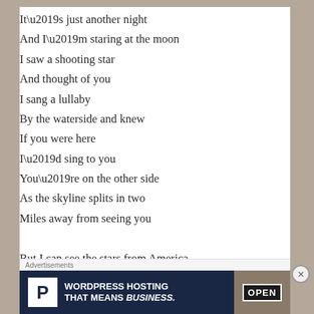It’s just another night
And I’m staring at the moon
I saw a shooting star
And thought of you
I sang a lullaby
By the waterside and knew
If you were here
I’d sing to you
You’re on the other side
As the skyline splits in two
Miles away from seeing you

But I can see the stars from America
[Figure (other): Advertisement banner: WordPress Hosting That Means Business with P logo and OPEN sign photo]